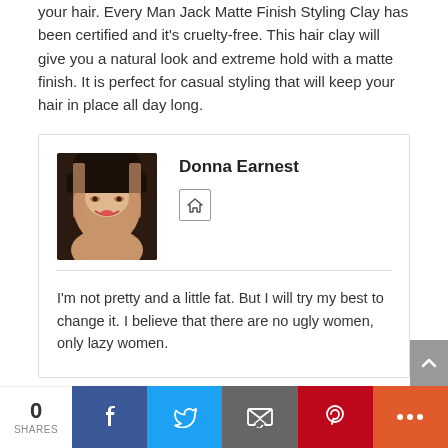your hair. Every Man Jack Matte Finish Styling Clay has been certified and it's cruelty-free. This hair clay will give you a natural look and extreme hold with a matte finish. It is perfect for casual styling that will keep your hair in place all day long.
Donna Earnest
I'm not pretty and a little fat. But I will try my best to change it. I believe that there are no ugly women, only lazy women.
0 SHARES